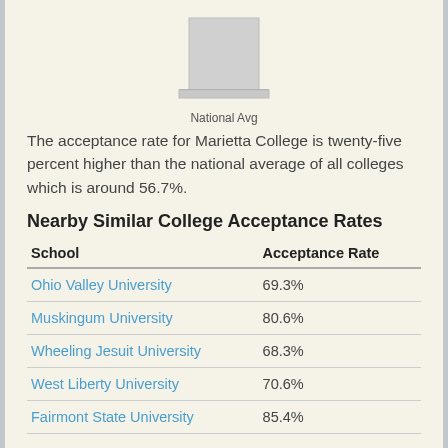[Figure (bar-chart): A single gray bar representing the National Average acceptance rate]
The acceptance rate for Marietta College is twenty-five percent higher than the national average of all colleges which is around 56.7%.
Nearby Similar College Acceptance Rates
| School | Acceptance Rate |
| --- | --- |
| Ohio Valley University | 69.3% |
| Muskingum University | 80.6% |
| Wheeling Jesuit University | 68.3% |
| West Liberty University | 70.6% |
| Fairmont State University | 85.4% |